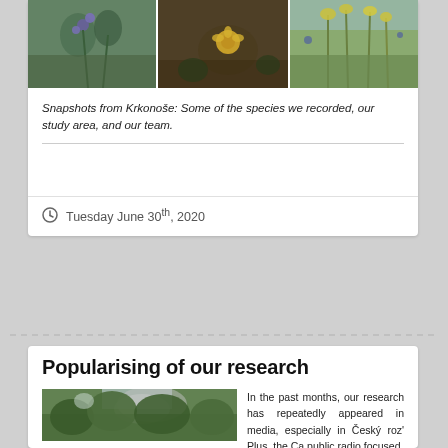[Figure (photo): Three photos in a row: plant with blue/purple flowers, yellow flower among leaves, tall yellow wildflowers against sky]
Snapshots from Krkonoše: Some of the species we recorded, our study area, and our team.
Tuesday June 30th, 2020
Popularising of our research
[Figure (photo): Forest scene with rocky hillside and green trees]
In the past months, our research has repeatedly appeared in media, especially in Český roz' Plus, the Ca public radio focused